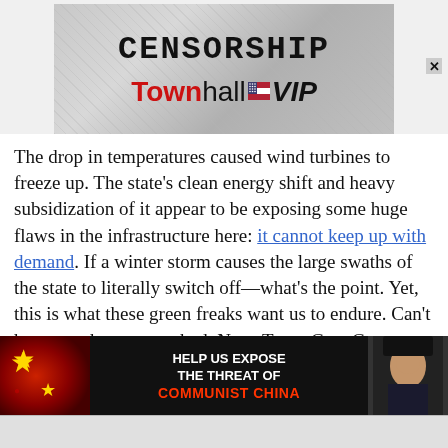[Figure (screenshot): Townhall VIP advertisement banner showing 'CENSORSHIP' in blocky monospace text over a stone/concrete texture background, with 'Townhall VIP' logo in red and black with an American flag icon]
The drop in temperatures caused wind turbines to freeze up. The state's clean energy shift and heavy subsidization of it appear to be exposing some huge flaws in the infrastructure here: it cannot keep up with demand. If a winter storm causes the large swaths of the state to literally switch off—what's the point. Yet, this is what these green freaks want us to endure. Can't heat your home—too bad. Now, Texas Gov. Greg Abbott is calling for some heads to roll at ERCOT and investigations into this catastrophe. (vi
[Figure (screenshot): Advertisement banner: 'HELP US EXPOSE THE THREAT OF COMMUNIST CHINA' with Chinese flag imagery on left and a man in suit on right, dark background]